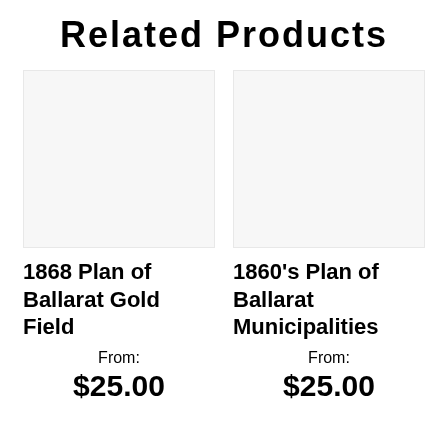Related Products
[Figure (photo): Placeholder image box for 1868 Plan of Ballarat Gold Field product]
1868 Plan of Ballarat Gold Field
From:
$25.00
[Figure (photo): Placeholder image box for 1860's Plan of Ballarat Municipalities product]
1860's Plan of Ballarat Municipalities
From:
$25.00